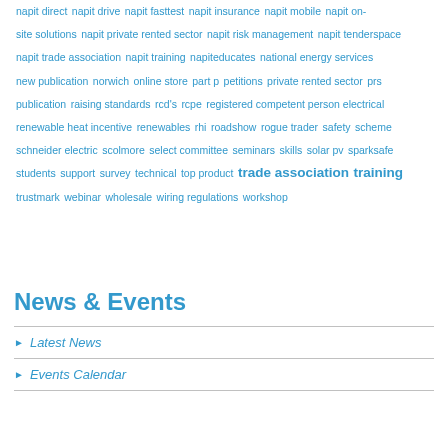napit direct  napit drive  napit fasttest  napit insurance  napit mobile  napit on-site solutions  napit private rented sector  napit risk management  napit tenderspace  napit trade association  napit training  napiteducates  national energy services  new publication  norwich  online store  part p  petitions  private rented sector  prs  publication  raising standards  rcd's  rcpe  registered competent person electrical  renewable heat incentive  renewables  rhi  roadshow  rogue trader  safety  scheme  schneider electric  scolmore  select committee  seminars  skills  solar pv  sparksafe  students  support  survey  technical  top product  trade association  training  trustmark  webinar  wholesale  wiring regulations  workshop
News & Events
Latest News
Events Calendar